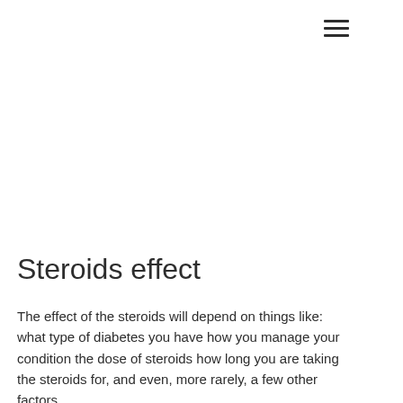[Figure (other): Hamburger menu icon with three horizontal lines]
Steroids effect
The effect of the steroids will depend on things like: what type of diabetes you have how you manage your condition the dose of steroids how long you are taking the steroids for, and even, more rarely, a few other factors.